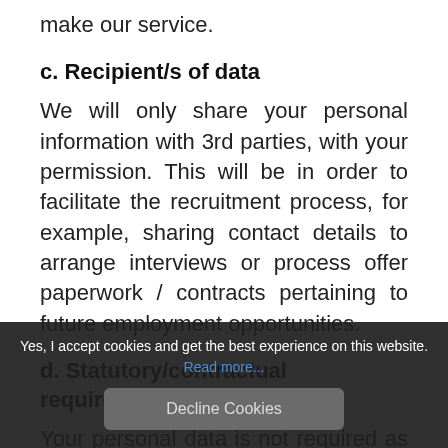make our service.
c. Recipient/s of data
We will only share your personal information with 3rd parties, with your permission. This will be in order to facilitate the recruitment process, for example, sharing contact details to arrange interviews or process offer paperwork / contracts pertaining to future employment opportunities.
d. Statutory/contractual requirement
Your personal data is not required as part of a statutory and/or contractual requirement, and/or a requirement necessary to enter into a contract.
Overseas transfers
Yes, I accept cookies and get the best experience on this website. Read more...
Decline Cookies